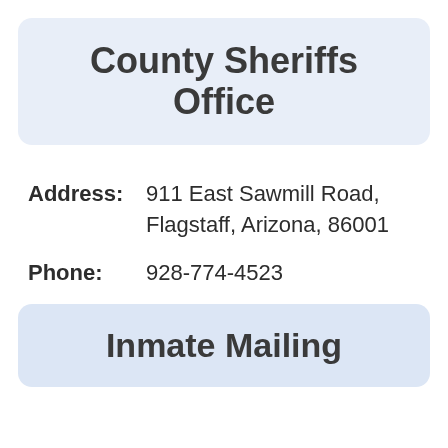County Sheriffs Office
Address: 911 East Sawmill Road, Flagstaff, Arizona, 86001
Phone: 928-774-4523
Inmate Mailing